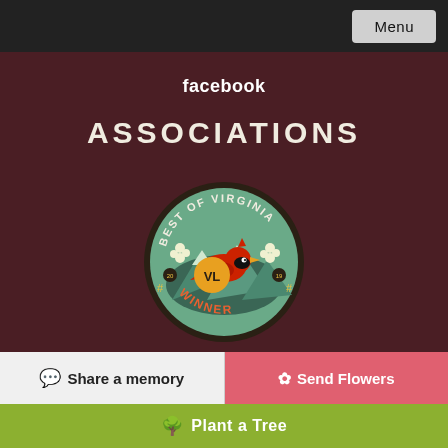Menu
facebook
ASSOCIATIONS
[Figure (logo): Best of Virginia Winner badge/seal featuring a red cardinal bird, mountains, flowers, and 'VL' text in center, circular badge design]
Share a memory
Send Flowers
Plant a Tree